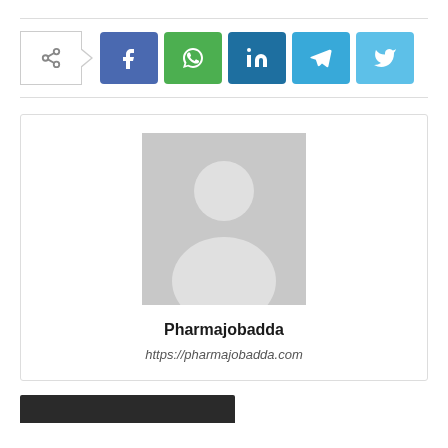[Figure (infographic): Social share buttons row: share icon box with arrow, followed by Facebook (blue), WhatsApp (green), LinkedIn (dark blue), Telegram (blue), Twitter (light blue) icon buttons]
[Figure (photo): Profile card with generic grey avatar placeholder silhouette image, name 'Pharmajobadda' in bold, and URL 'https://pharmajobadda.com' in italic]
https://pharmajobadda.com